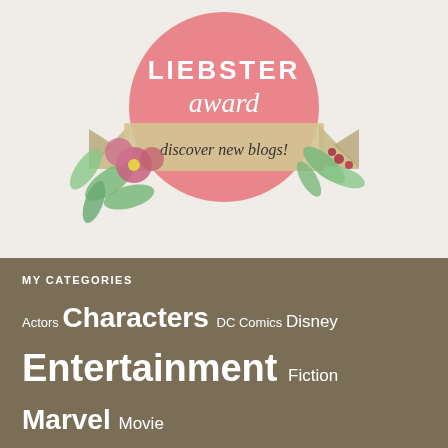[Figure (illustration): Liebster Award badge with pink scalloped circle containing text 'LIEBSTER award', a tan/beige ribbon banner across the middle reading 'discover new blogs!', and pink flowers with green leaves decoration.]
MY CATEGORIES
Actors Characters DC Comics Disney Entertainment Fiction Marvel Movie Heroines Movie Reviews Movies Movie Trailers